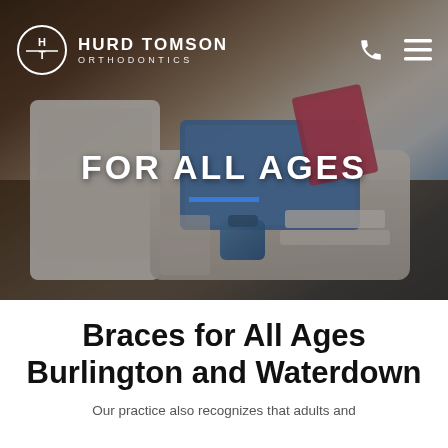[Figure (photo): Hero image of orthodontic dental tools and supplies on a tray on a desk, with dark brownish tones and blue dental supplies visible]
HURD TOMSON ORTHODONTICS
FOR ALL AGES
Braces for All Ages Burlington and Waterdown
Our practice also recognizes that adults and